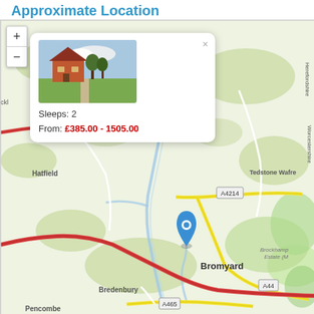Approximate Location
[Figure (map): OpenStreetMap showing approximate location near Bromyard, Herefordshire, England. Shows towns including Hatfield, Tedstone Wafre, Bredenbury, Bromyard, Pencombe, with roads A4214, A44, A465. A blue map pin marker is placed near the center of the map. A popup shows a property photo, Sleeps: 2, From: £385.00 - 1505.00]